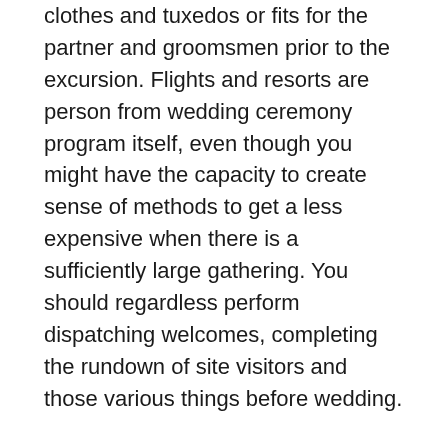clothes and tuxedos or fits for the partner and groomsmen prior to the excursion. Flights and resorts are person from wedding ceremony program itself, even though you might have the capacity to create sense of methods to get a less expensive when there is a sufficiently large gathering. You should regardless perform dispatching welcomes, completing the rundown of site visitors and those various things before wedding.
Several area wedding offers don't completely uncover everything if you don't read the conditions and terms. Before you consent towards the set up, guarantee you know all parts that may necessitate extra costs, their appearance strategy and additional essential issues. It is vital to make sure that they certainly are a reliable association with many years of wedding ceremony experience. Examine the Better Business Corporation to check on whether there were any problems enrolled and